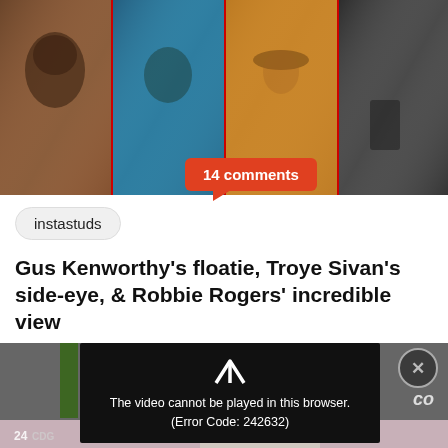[Figure (photo): Four photos side by side of shirtless men: a man with curly hair, a man with sunglasses near the beach, a man wearing a cowboy hat, and a fair-haired man taking a mirror selfie]
14 comments
instastuds
Gus Kenworthy’s floatie, Troye Sivan’s side-eye, & Robbie Rogers’ incredible view
[Figure (screenshot): Video player error overlay on a dark gray background with a play icon and error message: The video cannot be played in this browser. (Error Code: 242632). A close (X) button is shown on the right. Below is a partial image strip.]